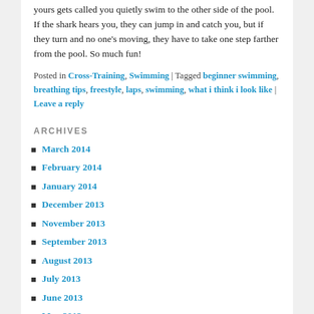yours gets called you quietly swim to the other side of the pool. If the shark hears you, they can jump in and catch you, but if they turn and no one's moving, they have to take one step farther from the pool. So much fun!
Posted in Cross-Training, Swimming | Tagged beginner swimming, breathing tips, freestyle, laps, swimming, what i think i look like | Leave a reply
ARCHIVES
March 2014
February 2014
January 2014
December 2013
November 2013
September 2013
August 2013
July 2013
June 2013
May 2013
April 2013